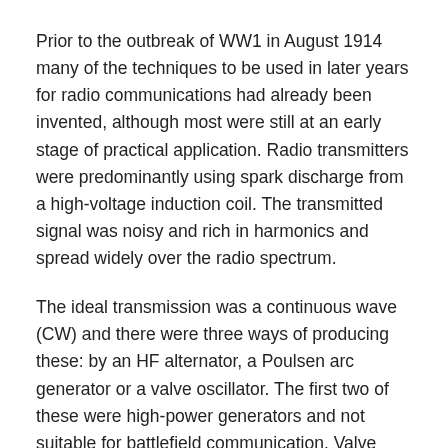Prior to the outbreak of WW1 in August 1914 many of the techniques to be used in later years for radio communications had already been invented, although most were still at an early stage of practical application. Radio transmitters were predominantly using spark discharge from a high-voltage induction coil. The transmitted signal was noisy and rich in harmonics and spread widely over the radio spectrum.
The ideal transmission was a continuous wave (CW) and there were three ways of producing these: by an HF alternator, a Poulsen arc generator or a valve oscillator. The first two of these were high-power generators and not suitable for battlefield communication. Valve oscillators were eventually universally adopted. Several important circuits using valves had been produced by 1914. Predominant amongst these were the amplifier, detector and oscillator. The oscillator, apart from its use as a CW generator for radio